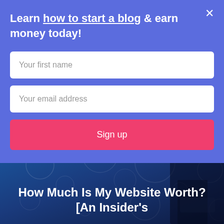[Figure (screenshot): Website screenshot showing a popup modal overlay on a blog website. The modal has a blue/purple background with a signup form. Behind the modal is a dark blue bokeh-effect background image with text 'How Much Is My Website Worth? [An Insider's' and a 'blogging' pill badge.]
Learn how to start a blog & earn money today!
Your first name
Your email address
Sign up
blogging
How Much Is My Website Worth? [An Insider's